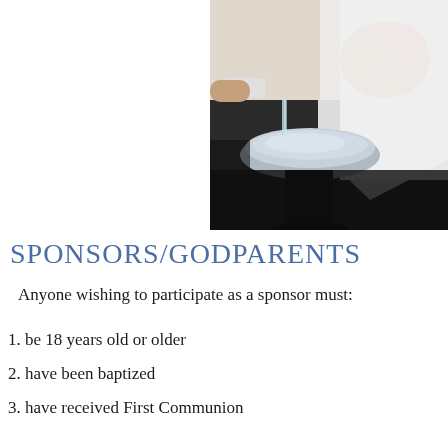[Figure (photo): A baptism scene showing a baby being baptized at a baptismal font, with water being poured using a silver vessel. The baby is dressed in white. A priest or minister's hands are visible.]
SPONSORS/GODPARENTS
Anyone wishing to participate as a sponsor must:
1. be 18 years old or older
2. have been baptized
3. have received First Communion